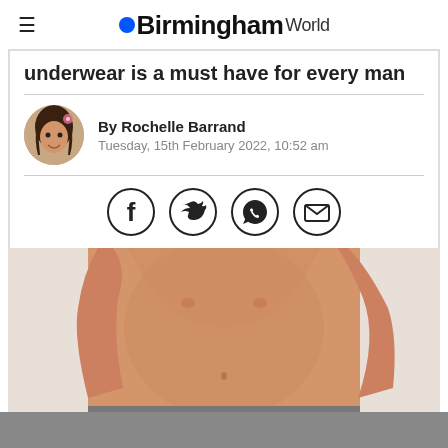BirminghamWorld
underwear is a must have for every man
By Rochelle Barrand
Tuesday, 15th February 2022, 10:52 am
[Figure (infographic): Social share icons: Facebook, Twitter, WhatsApp, Email]
[Figure (photo): Man from neck down wearing grey boxer shorts, shirtless, torso visible]